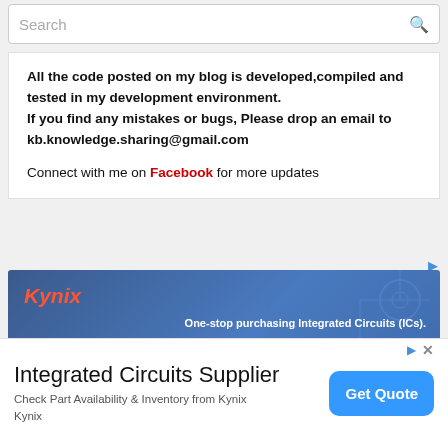Search
All the code posted on my blog is developed,compiled and tested in my development environment.
If you find any mistakes or bugs, Please drop an email to kb.knowledge.sharing@gmail.com

Connect with me on Facebook for more updates
[Figure (screenshot): Kynix advertisement banner with blue circuit board background, Kynix logo in red/orange italic text, an IC chip image, and text: One-stop purchasing Integrated Circuits (ICs). Extensive Stock Inventory. 100% Guaranteed Quality.]
Integrated Circuits Supplier
Check Part Availability & Inventory from Kynix
Kynix